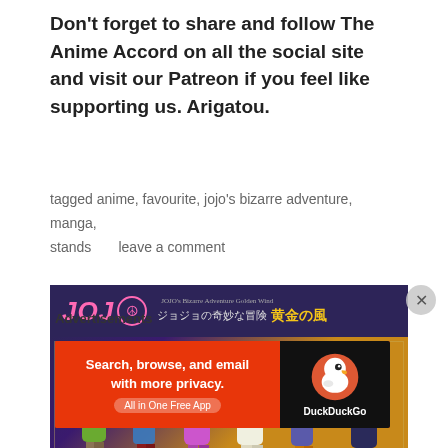Don't forget to share and follow The Anime Accord on all the social site and visit our Patreon if you feel like supporting us. Arigatou.
tagged anime, favourite, jojo's bizarre adventure, manga, stands      leave a comment
[Figure (illustration): JoJo's Bizarre Adventure Golden Wind anime promotional image showing six characters standing together with Japanese text and pink JOJO logo on dark purple/gold background]
Advertisements
[Figure (screenshot): DuckDuckGo advertisement banner with orange/red background reading 'Search, browse, and email with more privacy. All in One Free App' with DuckDuckGo logo on black right panel]